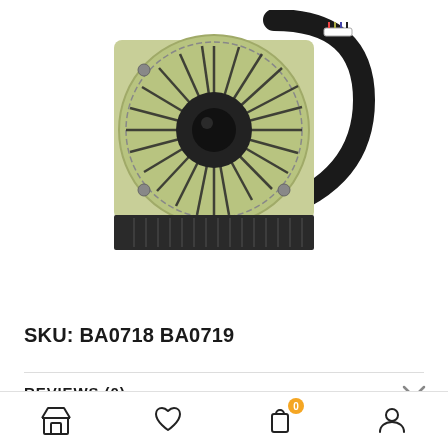[Figure (photo): Laptop CPU cooling fan with heatsink and heat pipe. The fan has a circular black motor center with dark blades on a light green/gold metallic body. A black arc-shaped heat pipe extends from the right side. A black finned heatsink is attached at the bottom.]
SKU: BA0718 BA0719
REVIEWS (0)